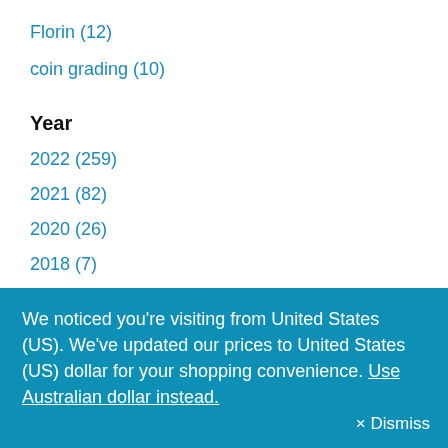Florin (12)
coin grading (10)
Year
2022 (259)
2021 (82)
2020 (26)
2018 (7)
We noticed you're visiting from United States (US). We've updated our prices to United States (US) dollar for your shopping convenience. Use Australian dollar instead.   × Dismiss